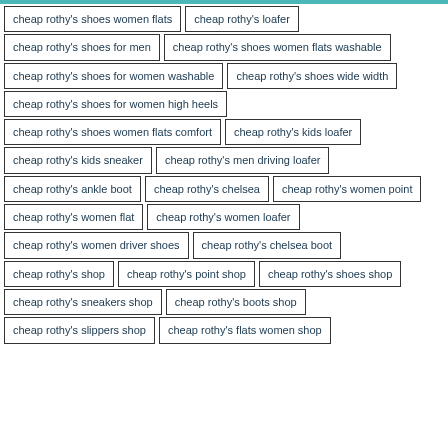cheap rothy's shoes women flats
cheap rothy's loafer
cheap rothy's shoes for men
cheap rothy's shoes women flats washable
cheap rothy's shoes for women washable
cheap rothy's shoes wide width
cheap rothy's shoes for women high heels
cheap rothy's shoes women flats comfort
cheap rothy's kids loafer
cheap rothy's kids sneaker
cheap rothy's men driving loafer
cheap rothy's ankle boot
cheap rothy's chelsea
cheap rothy's women point
cheap rothy's women flat
cheap rothy's women loafer
cheap rothy's women driver shoes
cheap rothy's chelsea boot
cheap rothy's shop
cheap rothy's point shop
cheap rothy's shoes shop
cheap rothy's sneakers shop
cheap rothy's boots shop
cheap rothy's slippers shop
cheap rothy's flats women shop